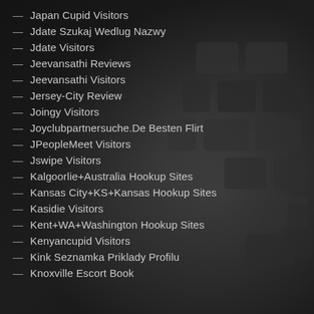Japan Cupid Visitors
Jdate Szukaj Wedlug Nazwy
Jdate Visitors
Jeevansathi Reviews
Jeevansathi Visitors
Jersey-City Review
Joingy Visitors
Joyclubpartnersuche.De Besten Flirt
JPeopleMeet Visitors
Jswipe Visitors
Kalgoorlie+Australia Hookup Sites
Kansas City+KS+Kansas Hookup Sites
Kasidie Visitors
Kent+WA+Washington Hookup Sites
Kenyancupid Visitors
Kink Seznamka Priklady Profilu
Knoxville Escort Book